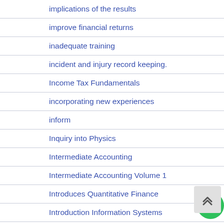implications of the results
improve financial returns
inadequate training
incident and injury record keeping.
Income Tax Fundamentals
incorporating new experiences
inform
Inquiry into Physics
Intermediate Accounting
Intermediate Accounting Volume 1
Introduces Quantitative Finance
Introduction Information Systems
Introduction Materials Management